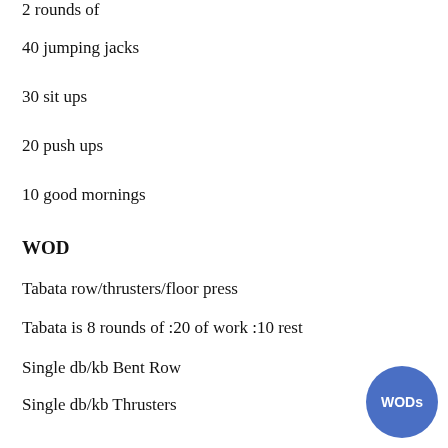2 rounds of
40 jumping jacks
30 sit ups
20 push ups
10 good mornings
WOD
Tabata row/thrusters/floor press
Tabata is 8 rounds of :20 of work :10 rest
Single db/kb Bent Row
Single db/kb Thrusters
Single db/kb Floor Press
*for all movements perform the :20 of work with one arm,